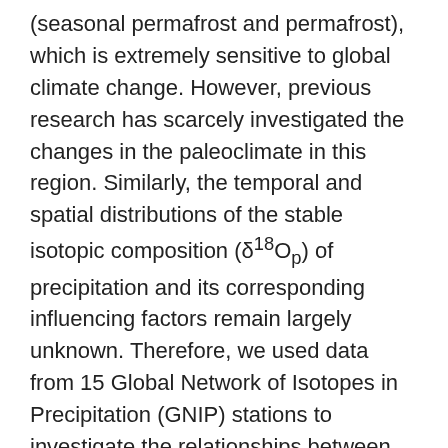(seasonal permafrost and permafrost), which is extremely sensitive to global climate change. However, previous research has scarcely investigated the changes in the paleoclimate in this region. Similarly, the temporal and spatial distributions of the stable isotopic composition (δ¹⁸Oₚ) of precipitation and its corresponding influencing factors remain largely unknown. Therefore, we used data from 15 Global Network of Isotopes in Precipitation (GNIP) stations to investigate the relationships between δ¹⁸Oₚ and the local temperature and precipitation considering changes in atmospheric circulation. Analyses conducted on the monthly, seasonal and annual timescales led to three main conclusions. (1) At the monthly timescale, the variations in δ¹⁸Oₚ exhibited a significant positive correlation with the monthly mean temperature (p < 0.01). The δ¹⁸Oₚ excursion was positive in summer as the temperature increased and negative in winter as the temperature decreased. Note that the δ¹⁸Oₚ values were also affected by the monthly